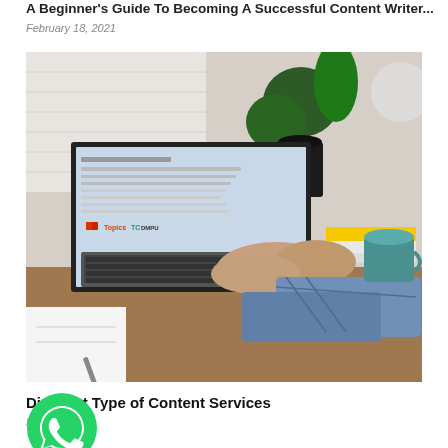A Beginner's Guide To Becoming A Successful Content Writer
February 18, 2021
[Figure (photo): Person typing on a MacBook laptop at a wooden desk, with a plant, books (including a yellow one), and a green coffee mug in the background. The laptop screen shows a web browser or application interface.]
Different Type of Content Services
March 2021